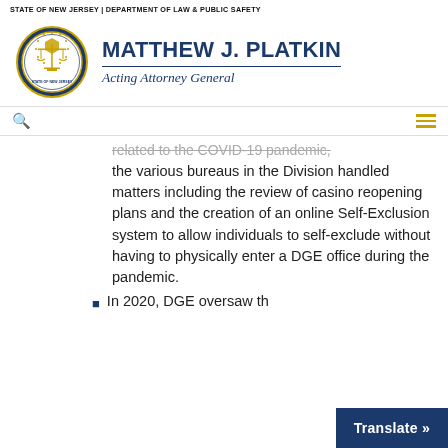STATE OF NEW JERSEY | DEPARTMENT OF LAW & PUBLIC SAFETY
[Figure (logo): NJ Office of the Attorney General seal with scales of justice]
MATTHEW J. PLATKIN
Acting Attorney General
related to the COVID-19 pandemic, the various bureaus in the Division handled matters including the review of casino reopening plans and the creation of an online Self-Exclusion system to allow individuals to self-exclude without having to physically enter a DGE office during the pandemic.
In 2020, DGE oversaw the